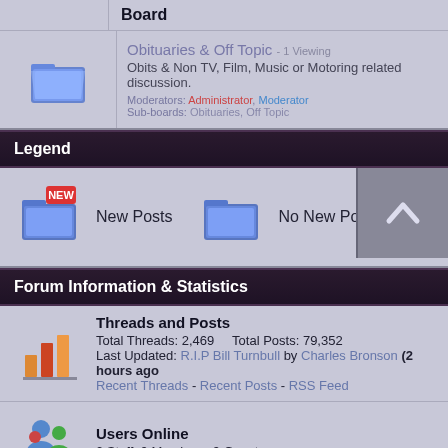|  | Board |
| --- | --- |
| [folder icon] | Obituaries & Off Topic - 1 Viewing
Obits & Non TV, Film, Music or Motoring related discussion.
Moderators: Administrator, Moderator
Sub-boards: Obituaries, Off Topic |
Legend
New Posts   No New Posts
Forum Information & Statistics
Threads and Posts
Total Threads: 2,469    Total Posts: 79,352
Last Updated: R.I.P Bill Turnbull by Charles Bronson (2 hours ago)
Recent Threads - Recent Posts - RSS Feed
Users Online
0 Staff, 0 Members, 9 Guests.
Users Online in the Last 24 Hours
3 Staff, 7 Members, 189 Guests.
Sam Tyler, Charles Bronson, Cartman, Gene Hunt, The Saint, Jo